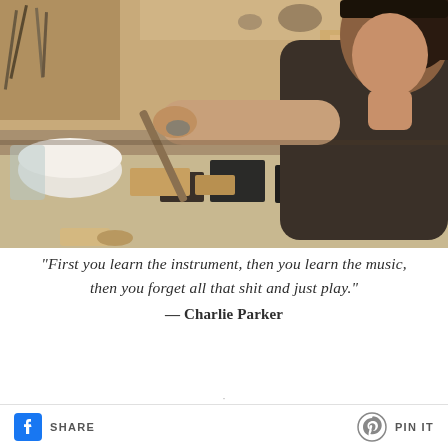[Figure (photo): A woman working at a cluttered craft workbench, using tools to work on a piece, photographed in a workshop setting with various tools and materials around her.]
“First you learn the instrument, then you learn the music, then you forget all that shit and just play.” — Charlie Parker
SHARE   PIN IT